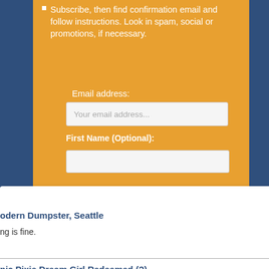Subscribe, then find confirmation email and follow instructions. Look in spam, social or promotions, if necessary.
Email address:
Your email address...
First Name (Optional):
× (close button)
odern Dumpster, Seattle
ng is fine.
nic Pixie Dream Girl Redeemed (?)
m "Manic Pixie Dream Girl" was invented Nathan Rabin, writing in 2007 for the web ...
right © 2022.
Shop